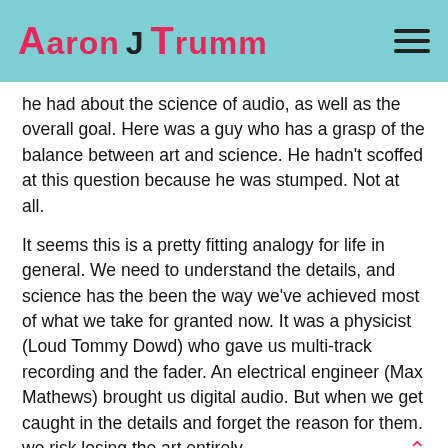Aaron J Trumm
he had about the science of audio, as well as the overall goal. Here was a guy who has a grasp of the balance between art and science. He hadn't scoffed at this question because he was stumped. Not at all.
It seems this is a pretty fitting analogy for life in general. We need to understand the details, and science has the been the way we've achieved most of what we take for granted now. It was a physicist (Loud Tommy Dowd) who gave us multi-track recording and the fader. An electrical engineer (Max Mathews) brought us digital audio. But when we get caught in the details and forget the reason for them. we risk losing the art entirely.
We're seeing that battle a lot lately, not just in music. Science is being thrown away when it shouldn't be, but so is its counterpart, faith. This is a dilemma as old as history. In college lectures on medieval history,